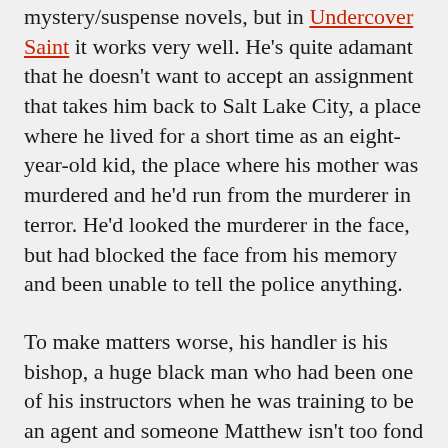mystery/suspense novels, but in Undercover Saint it works very well. He's quite adamant that he doesn't want to accept an assignment that takes him back to Salt Lake City, a place where he lived for a short time as an eight-year-old kid, the place where his mother was murdered and he'd run from the murderer in terror. He'd looked the murderer in the face, but had blocked the face from his memory and been unable to tell the police anything.
To make matters worse, his handler is his bishop, a huge black man who had been one of his instructors when he was training to be an agent and someone Matthew isn't too fond of. He tries to explain that he'll stand out like a sore thumb in an LDS community because he and his mother had only been baptized a few weeks before she was killed and he was sent to live with relatives who